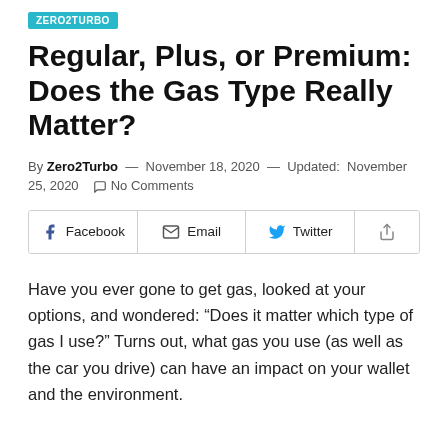ZERO2TURBO
Regular, Plus, or Premium: Does the Gas Type Really Matter?
By Zero2Turbo — November 18, 2020 — Updated: November 25, 2020   No Comments
Have you ever gone to get gas, looked at your options, and wondered: “Does it matter which type of gas I use?” Turns out, what gas you use (as well as the car you drive) can have an impact on your wallet and the environment.